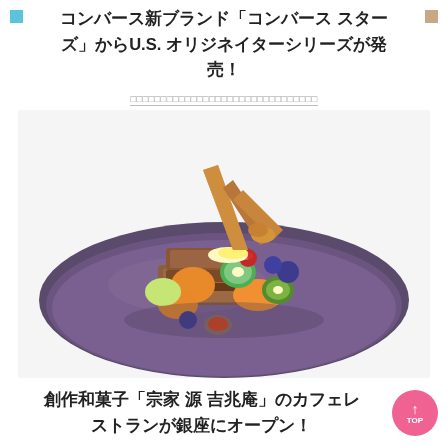コンバース新ブランド「コンバース スターズ」からU.S. オリジネイターシリーズが発売！
□□□□□□□□□□□□□□□□□□□□□□□□□□□□□□□□□
[Figure (photo): A plated dessert dish on a dark purple/grey plate. The dish features French toast or a similar baked item stacked with assorted fresh fruits including kiwi, persimmon, figs, blueberries, raspberries, and grapes, topped with what appears to be cream and crispy pastry shards. White background.]
創作和菓子「宗家 源 吉兆庵」のカフェレストランが銀座にオープン！